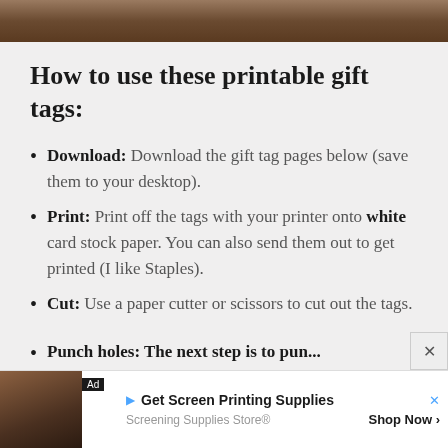[Figure (photo): Dark brown wood texture photo, cropped at top]
How to use these printable gift tags:
Download: Download the gift tag pages below (save them to your desktop).
Print: Print off the tags with your printer onto white card stock paper. You can also send them out to get printed (I like Staples).
Cut: Use a paper cutter or scissors to cut out the tags.
Punch holes: ...
[Figure (photo): Advertisement banner: Get Screen Printing Supplies - Screening Supplies Store - Shop Now]